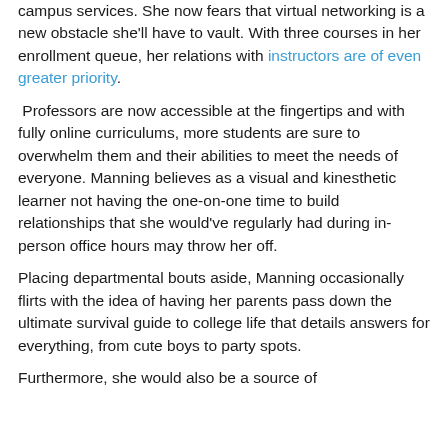campus services. She now fears that virtual networking is a new obstacle she'll have to vault. With three courses in her enrollment queue, her relations with instructors are of even greater priority.
Professors are now accessible at the fingertips and with fully online curriculums, more students are sure to overwhelm them and their abilities to meet the needs of everyone. Manning believes as a visual and kinesthetic learner not having the one-on-one time to build relationships that she would've regularly had during in-person office hours may throw her off.
Placing departmental bouts aside, Manning occasionally flirts with the idea of having her parents pass down the ultimate survival guide to college life that details answers for everything, from cute boys to party spots.
Furthermore, she would also be a source of...